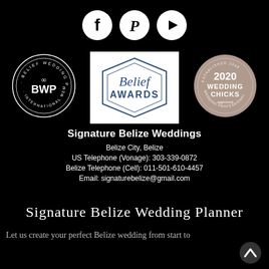[Figure (logo): Three social media icons: Facebook, Pinterest, YouTube in white circles on black background]
[Figure (logo): BWP - Belief Wedding Planners International Member circular badge]
[Figure (logo): Belief Awards badge with hexagonal border on white background]
[Figure (logo): 2020 Wedding Chicks approved Wedding Professional circular badge in tan/rose gold]
Signature Belize Weddings
Belize City, Belize
US Telephone (Vonage): 303-339-0872
Belize Telephone (Cell): 011-501-610-4457
Email: signaturebelize@gmail.com
Signature Belize Wedding Planner
Let us create your perfect Belize wedding from start to
[Figure (other): Upward chevron/arrow icon in bottom right corner]